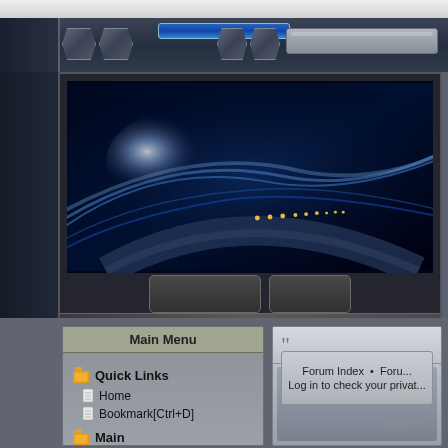[Figure (screenshot): Sci-fi themed website interface with dark metallic design. Top decorative header with blue accent, large banner showing abstract blue light streams on dark background with futuristic car silhouette. Below: left sidebar with Main Menu showing Quick Links (Home, Bookmark[Ctrl+D]) and Main section (Forums, Groups). Right panel shows forum navigation with 'Forum Index • Foru...' and 'Log in to check your privat...' text, and a search field.]
Main Menu
Quick Links
Home
Bookmark[Ctrl+D]
Main
Forums
Groups
Forum Index  •  Foru...
Log in to check your privat...
Search I...